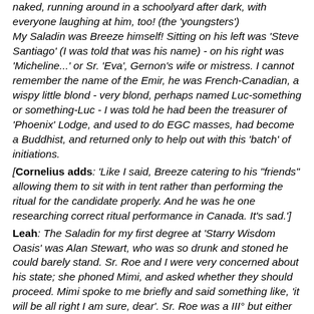naked, running around in a schoolyard after dark, with everyone laughing at him, too! (the 'youngsters') My Saladin was Breeze himself! Sitting on his left was 'Steve Santiago' (I was told that was his name) - on his right was 'Micheline...' or Sr. 'Eva', Gernon's wife or mistress. I cannot remember the name of the Emir, he was French-Canadian, a wispy little blond - very blond, perhaps named Luc-something or something-Luc - I was told he had been the treasurer of 'Phoenix' Lodge, and used to do EGC masses, had become a Buddhist, and returned only to help out with this 'batch' of initiations.
[Cornelius adds: 'Like I said, Breeze catering to his "friends" allowing them to sit with in tent rather than performing the ritual for the candidate properly. And he was he one researching correct ritual performance in Canada. It's sad.']
Leah: The Saladin for my first degree at 'Starry Wisdom Oasis' was Alan Stewart, who was so drunk and stoned he could barely stand. Sr. Roe and I were very concerned about his state; she phoned Mimi, and asked whether they should proceed. Mimi spoke to me briefly and said something like, 'it will be all right I am sure, dear'. Sr. Roe was a III° but either refused or didn't want to go into the Temple, and stayed outside.